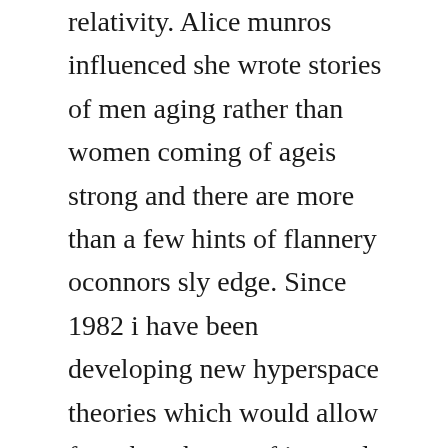relativity. Alice munros influenced she wrote stories of men aging rather than women coming of ageis strong and there are more than a few hints of flannery oconnors sly edge. Since 1982 i have been developing new hyperspace theories which would allow for other shapes of internal space than were originally allowed by yangmills type generalizations of kaluzaklein theories. The rules of a trans dimensional unified field universe are as follows. Nov, 2018 thanks for the a2a the unified field theory, proposed by jesse chandler, looks beyond the established